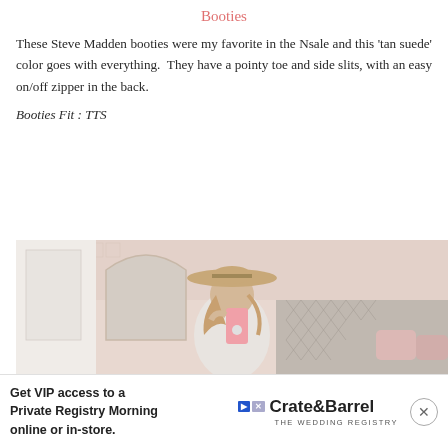Booties
These Steve Madden booties were my favorite in the Nsale and this ‘tan suede’ color goes with everything.  They have a pointy toe and side slits, with an easy on/off zipper in the back.
Booties Fit : TTS
[Figure (photo): Woman taking a selfie in a mirror wearing a wide-brim tan hat, white sweater, holding a pink phone with a popsocket. Background shows a tufted headboard and a decorative patterned wallpaper/tapestry.]
[Figure (other): Advertisement banner: 'Get VIP access to a Private Registry Morning online or in-store.' with Crate & Barrel The Wedding Registry logo and a close button.]